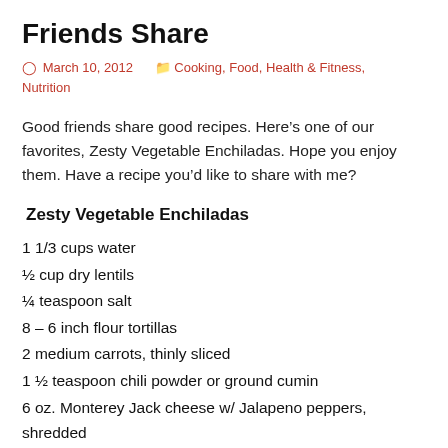Friends Share
March 10, 2012    Cooking, Food, Health & Fitness, Nutrition
Good friends share good recipes. Here’s one of our favorites, Zesty Vegetable Enchiladas. Hope you enjoy them. Have a recipe you’d like to share with me?
Zesty Vegetable Enchiladas
1 1/3 cups water
½ cup dry lentils
¼ teaspoon salt
8 – 6 inch flour tortillas
2 medium carrots, thinly sliced
1 ½ teaspoon chili powder or ground cumin
6 oz. Monterey Jack cheese w/ Jalapeno peppers, shredded
1 tablespoon cooking oil